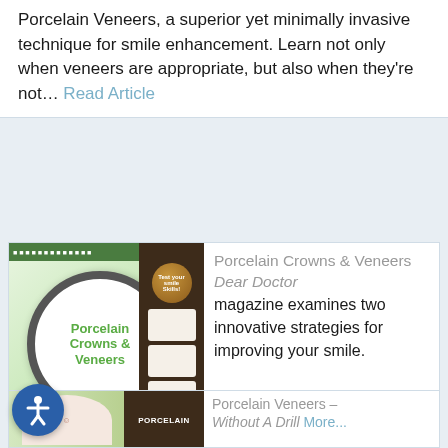Porcelain Veneers, a superior yet minimally invasive technique for smile enhancement. Learn not only when veneers are appropriate, but also when they're not... Read Article
[Figure (photo): Magazine spread thumbnail showing 'Porcelain Crowns & Veneers' article with magnifying glass overlay on a green background, and a dark sidebar with smile photos]
Porcelain Crowns & Veneers Dear Doctor magazine examines two innovative strategies for improving your smile. In many instances, these two restorative techniques can produce nearly identical aesthetic results, even though they are designed differently for handling different structural problems... Read Article
[Figure (photo): Thumbnail of Porcelain Veneers article with smile close-up and dark book/magazine cover showing PORCELAIN text]
Porcelain Veneers – Without A Drill More...